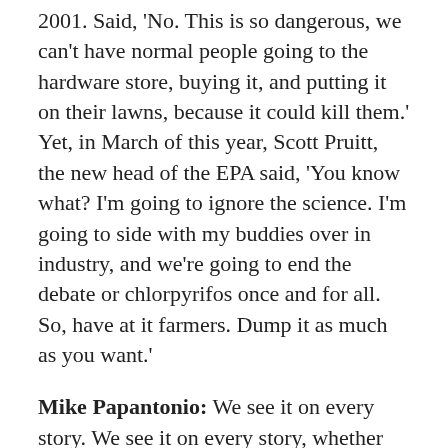2001. Said, 'No. This is so dangerous, we can't have normal people going to the hardware store, buying it, and putting it on their lawns, because it could kill them.' Yet, in March of this year, Scott Pruitt, the new head of the EPA said, 'You know what? I'm going to ignore the science. I'm going to side with my buddies over in industry, and we're going to end the debate or chlorpyrifos once and for all. So, have at it farmers. Dump it as much as you want.'
Mike Papantonio: We see it on every story. We see it on every story, whether it's RoundUp, we've got Monsanto that's killing people with RoundUp, causing blood diseases that are killing people. I defy you. If you're watching this program, go and find one time where a station like MSNBC has